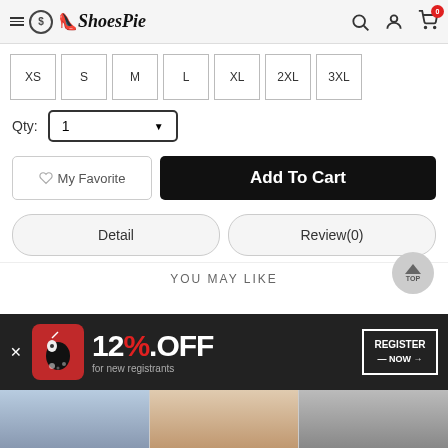ShoesPie
XS
S
M
L
XL
2XL
3XL
Qty: 1
My Favorite
Add To Cart
Detail
Review(0)
YOU MAY LIKE
12%.OFF for new registrants
REGISTER NOW